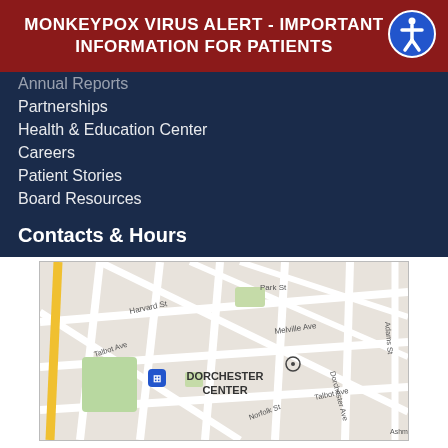MONKEYPOX VIRUS ALERT - IMPORTANT INFORMATION FOR PATIENTS
Annual Reports
Partnerships
Health & Education Center
Careers
Patient Stories
Board Resources
Contacts & Hours
[Figure (map): Street map showing Dorchester Center area in Boston, with streets including Harvard St, Talbot Ave, Park St, Melville Ave, Norfolk St, Dorchester Ave, Adams St. A transit stop marker (MBTA) is visible.]